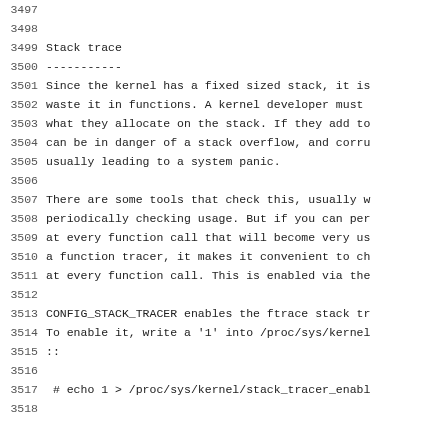3497
3498
3499 Stack trace
3500 -----------
3501 Since the kernel has a fixed sized stack, it is
3502 waste it in functions. A kernel developer must
3503 what they allocate on the stack. If they add to
3504 can be in danger of a stack overflow, and corru
3505 usually leading to a system panic.
3506
3507 There are some tools that check this, usually w
3508 periodically checking usage. But if you can per
3509 at every function call that will become very us
3510 a function tracer, it makes it convenient to ch
3511 at every function call. This is enabled via the
3512
3513 CONFIG_STACK_TRACER enables the ftrace stack tr
3514 To enable it, write a '1' into /proc/sys/kernel
3515 ::
3516
3517  # echo 1 > /proc/sys/kernel/stack_tracer_enabl
3518